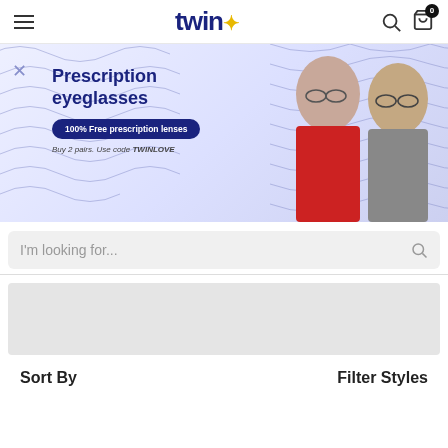twin — navigation header with hamburger menu, logo, search and cart icons
[Figure (screenshot): Promotional banner for prescription eyeglasses. Background with wavy navy blue lines on light lavender. Text reads: Prescription eyeglasses, 100% Free prescription lenses, Buy 2 pairs. Use code TWINLOVE. Two people wearing glasses on the right side.]
I'm looking for...
Sort By
Filter Styles